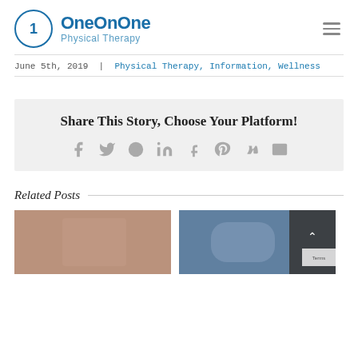OneOnOne Physical Therapy
June 5th, 2019 | Physical Therapy, Information, Wellness
Share This Story, Choose Your Platform!
Social share icons: Facebook, Twitter, Reddit, LinkedIn, Tumblr, Pinterest, VK, Email
Related Posts
[Figure (photo): Physical therapy clinic interior with patient in pink top]
[Figure (photo): Person holding anatomical pelvis model with text overlay and reCAPTCHA terms]